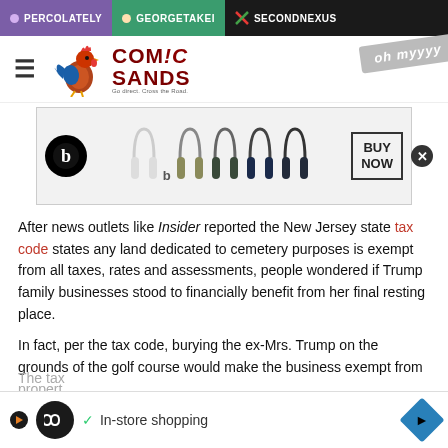PERCOLATELY  GEORGETAKEI  SECONDNEXUS
[Figure (logo): Comic Sands logo with rooster illustration]
[Figure (photo): Beats by Dre headphones advertisement with BUY NOW button]
After news outlets like Insider reported the New Jersey state tax code states any land dedicated to cemetery purposes is exempt from all taxes, rates and assessments, people wondered if Trump family businesses stood to financially benefit from her final resting place.
In fact, per the tax code, burying the ex-Mrs. Trump on the grounds of the golf course would make the business exempt from propert
The tax
[Figure (infographic): In-store shopping ad overlay at bottom of page]